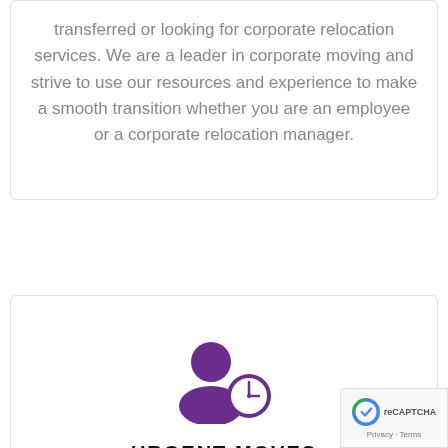transferred or looking for corporate relocation services. We are a leader in corporate moving and strive to use our resources and experience to make a smooth transition whether you are an employee or a corporate relocation manager.
[Figure (illustration): Purple icon of a person with a clock symbol, representing urgent/time-sensitive moves]
URGENT MOVES